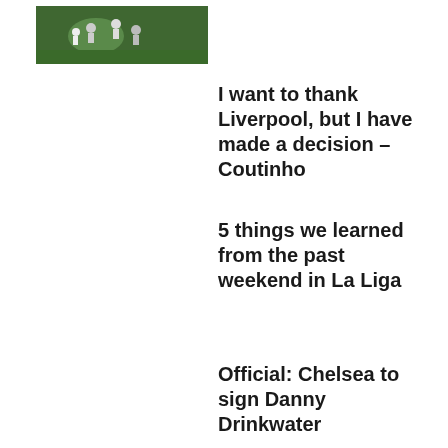[Figure (photo): Football/soccer players on a pitch during a match]
I want to thank Liverpool, but I have made a decision – Coutinho
5 things we learned from the past weekend in La Liga
Official: Chelsea to sign Danny Drinkwater